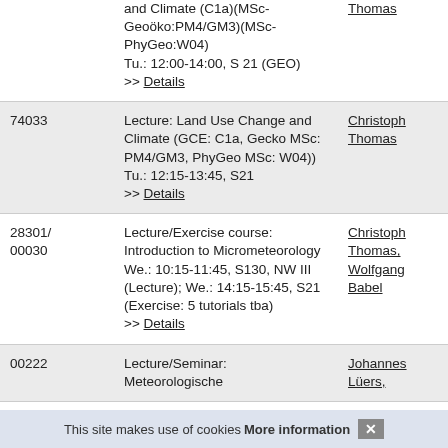|  | Course | Instructor |
| --- | --- | --- |
|  | and Climate (C1a)(MSc-Geoöko:PM4/GM3)(MSc-PhyGeo:W04)
Tu.: 12:00-14:00, S 21 (GEO)
>> Details | Thomas |
| 74033 | Lecture: Land Use Change and Climate (GCE: C1a, Gecko MSc: PM4/GM3, PhyGeo MSc: W04))
Tu.: 12:15-13:45, S21
>> Details | Christoph Thomas |
| 28301/
00030 | Lecture/Exercise course: Introduction to Micrometeorology
We.: 10:15-11:45, S130, NW III (Lecture); We.: 14:15-15:45, S21 (Exercise: 5 tutorials tba)
>> Details | Christoph Thomas, Wolfgang Babel |
| 00222 | Lecture/Seminar: Meteorologische | Johannes Lüers, |
This site makes use of cookies More information